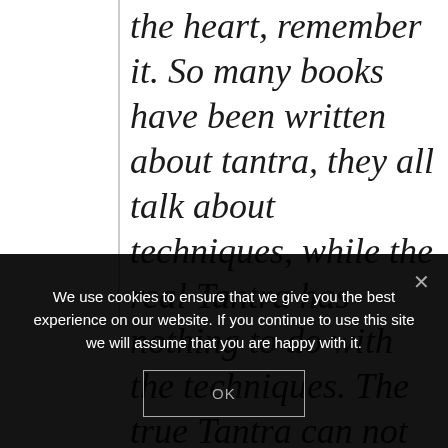the heart, remember it. So many books have been written about tantra, they all talk about techniques, while the real Tantra has nothing to do with the techniques. The true Tantra can not be written, the true Tantra must be assimilated. How to
We use cookies to ensure that we give you the best experience on our website. If you continue to use this site we will assume that you are happy with it.
OK